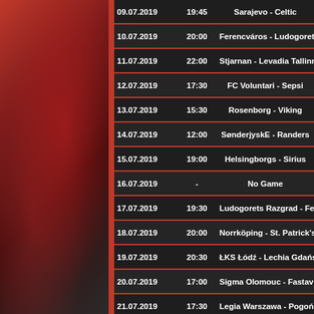[Figure (photo): Sports athlete image on red/dark background on the left side]
| Date | Time | Match |
| --- | --- | --- |
| 09.07.2019 | 19:45 | Sarajevo - Celtic |
| 10.07.2019 | 20:00 | Ferencváros - Ludogorets Razgr... |
| 11.07.2019 | 22:00 | Stjarnan - Levadia Tallinn |
| 12.07.2019 | 17:30 | FC Voluntari - Sepsi |
| 13.07.2019 | 15:30 | Rosenborg - Viking |
| 14.07.2019 | 12:00 | SønderjyskE - Randers |
| 15.07.2019 | 19:00 | Helsingborgs - Sirius |
| 16.07.2019 | - | No Game |
| 17.07.2019 | 19:30 | Ludogorets Razgrad - Ferencvár... |
| 18.07.2019 | 20:00 | Norrköping - St. Patrick's |
| 19.07.2019 | 20:30 | ŁKS Łódź - Lechia Gdańsk |
| 20.07.2019 | 17:00 | Sigma Olomouc - Fastav Zlín |
| 21.07.2019 | 17:30 | Legia Warszawa - Pogoń Szczeci... |
| 22.07.2019 | 19:00 | Odense - Lyngby |
| 23.07.2019 | 19:00 | Viktoria Plzeň - Olympiakos |